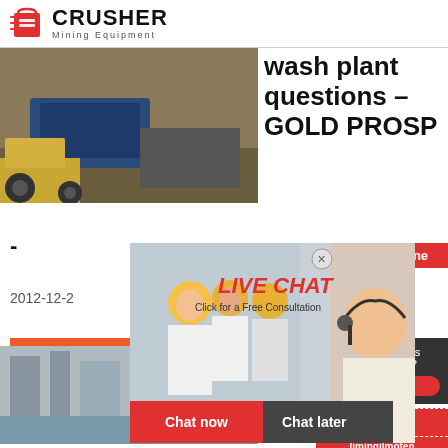[Figure (logo): Crusher Mining Equipment logo with red shopping bag icon and bold CRUSHER text]
[Figure (photo): Mining excavator and crusher equipment in a quarry/mining site]
wash plant questions - GOLD PROSP
-
2012-12-2
[Figure (photo): Live chat overlay with workers in hard hats and female customer service representative with headset. 24Hrs Online badge, LIVE CHAT text, Click for a Free Consultation subtitle, Chat now and Chat later buttons]
Read More
[Figure (photo): Industrial facility/plant photo]
Home
Porta
Need questions & suggestion?
Chat Now
Enquiry
limingjlmofen@sina.com